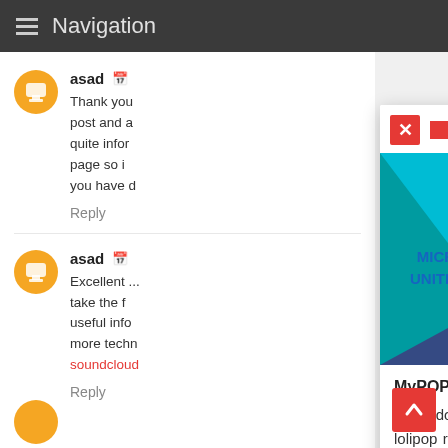Navigation
asad
Thank you post and a quite infor page so i you have d
Reply
asad
Excellent ... take the f useful info more techn soundcloud
Reply
ALSO READ
[Figure (illustration): MyPOP ROM promotional image for Micromax Unite 2 A106 with Android mascot]
MyPOP ROM - Micromax Unite 2
What do you think about this rom? MyPoP rom is a lolipop rom developed by Binson Jose. It is a mixture of